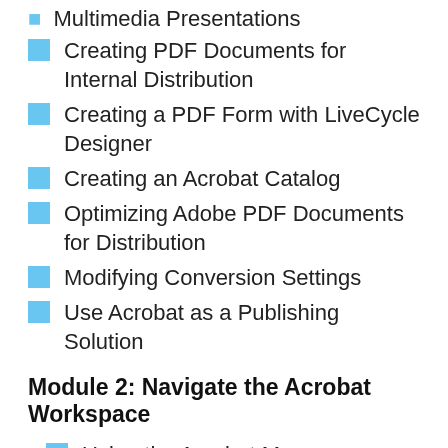Creating PDF Documents for Internal Distribution
Creating a PDF Form with LiveCycle Designer
Creating an Acrobat Catalog
Optimizing Adobe PDF Documents for Distribution
Modifying Conversion Settings
Use Acrobat as a Publishing Solution
Module 2: Navigate the Acrobat Workspace
Using the Acrobat Menu Commands
Customizing the Workspace
Setting Preferences